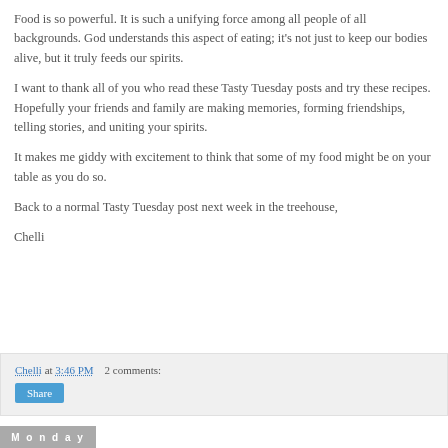Food is so powerful. It is such a unifying force among all people of all backgrounds. God understands this aspect of eating; it's not just to keep our bodies alive, but it truly feeds our spirits.
I want to thank all of you who read these Tasty Tuesday posts and try these recipes. Hopefully your friends and family are making memories, forming friendships, telling stories, and uniting your spirits.
It makes me giddy with excitement to think that some of my food might be on your table as you do so.
Back to a normal Tasty Tuesday post next week in the treehouse,
Chelli
Chelli at 3:46 PM   2 comments:
Monday